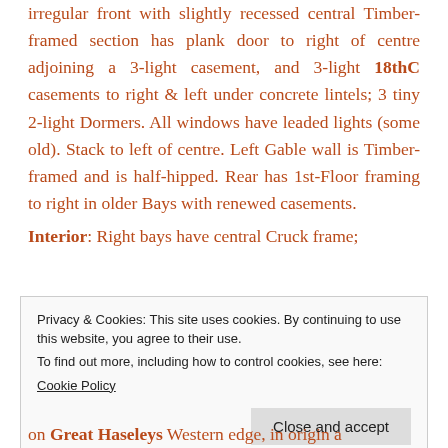irregular front with slightly recessed central Timber-framed section has plank door to right of centre adjoining a 3-light casement, and 3-light 18thC casements to right & left under concrete lintels; 3 tiny 2-light Dormers. All windows have leaded lights (some old). Stack to left of centre. Left Gable wall is Timber-framed and is half-hipped. Rear has 1st-Floor framing to right in older Bays with renewed casements.
Interior: Right bays have central Cruck frame;
Privacy & Cookies: This site uses cookies. By continuing to use this website, you agree to their use.
To find out more, including how to control cookies, see here:
Cookie Policy
Close and accept
on Great Haseleys Western edge, in origin a